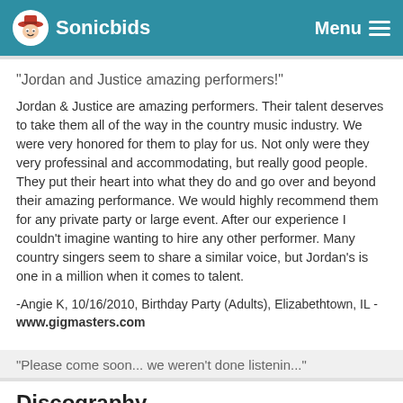Sonicbids  Menu
"Jordan and Justice amazing performers!"
Jordan & Justice are amazing performers. Their talent deserves to take them all of the way in the country music industry. We were very honored for them to play for us. Not only were they very professinal and accommodating, but really good people. They put their heart into what they do and go over and beyond their amazing performance. We would highly recommend them for any private party or large event. After our experience I couldn't imagine wanting to hire any other performer. Many country singers seem to share a similar voice, but Jordan's is one in a million when it comes to talent.
-Angie K, 10/16/2010, Birthday Party (Adults), Elizabethtown, IL - www.gigmasters.com
Discography